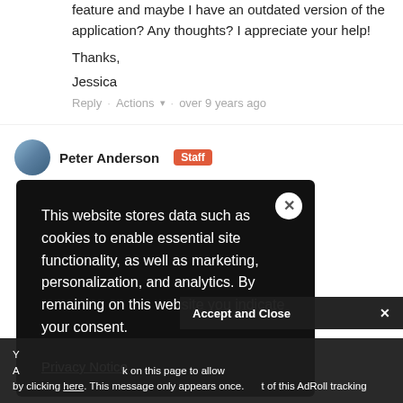feature and maybe I have an outdated version of the application? Any thoughts? I appreciate your help!
Thanks,
Jessica
Reply · Actions ▾ · over 9 years ago
Peter Anderson  Staff
...nter or r Presenter, storyline. ultiple slides
[Figure (screenshot): Cookie consent modal overlay on dark background with close X button, reading: 'This website stores data such as cookies to enable essential site functionality, as well as marketing, personalization, and analytics. By remaining on this website you indicate your consent.' with a Privacy Notice link at bottom.]
Accept and Close ×
Y A by clicking here. This message only appears once.